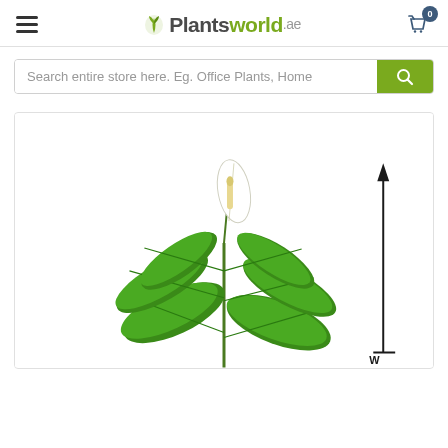Plantsworld.ae
Search entire store here. Eg. Office Plants, Home
[Figure (photo): A peace lily plant (Spathiphyllum) with green leaves and a white flower/spathe, on a white background. A black arrow pointing upward is visible on the right side with a measurement indicator at the bottom.]